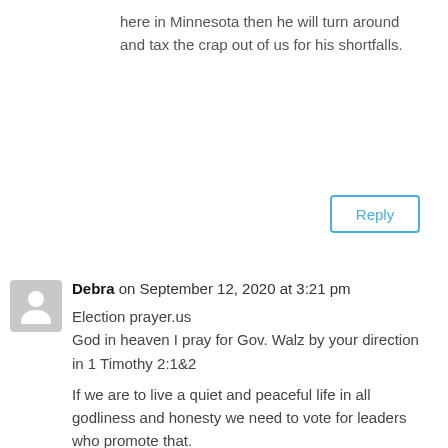here in Minnesota then he will turn around and tax the crap out of us for his shortfalls.
Reply
Debra on September 12, 2020 at 3:21 pm
Election prayer.us
God in heaven I pray for Gov. Walz by your direction in 1 Timothy 2:1&2

If we are to live a quiet and peaceful life in all godliness and honesty we need to vote for leaders who promote that.
Get out the vote!! Campaign! Make phone calls! Register voters! Work at the polls!
Pray!!